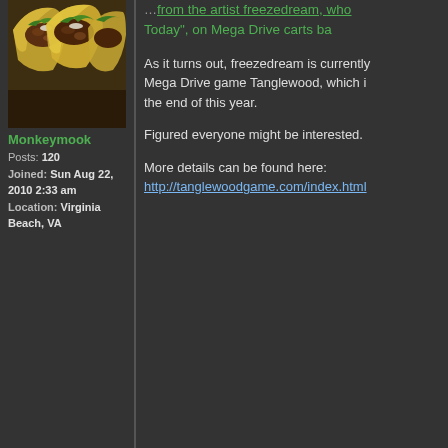[Figure (photo): Photo of tacos with meat filling, greens, in yellow tortillas on dark background]
Monkeymook
Posts: 120
Joined: Sun Aug 22, 2010 2:33 am
Location: Virginia Beach, VA
from the artist freezedream, who Today", on Mega Drive carts ba

As it turns out, freezedream is currently Mega Drive game Tanglewood, which i the end of this year.

Figured everyone might be interested.

More details can be found here:
http://tanglewoodgame.com/index.html
[Figure (photo): Avatar image: red and blue cartoon character (Sonic/Knuckles style) on black background]
donluca
Been Here for a Bit
Posts: 66
Joined: Tue Dec 11, 2012 2:08 pm
New Mega Drive game titled "Ta production.
by donluca » Thu Jun 29, 2017 12:37 pm
Beautiful, thanks for sharing this. They ADPCM channel and you can definitely it blends beautifully with the YM2612 tr

Really looking forward this.